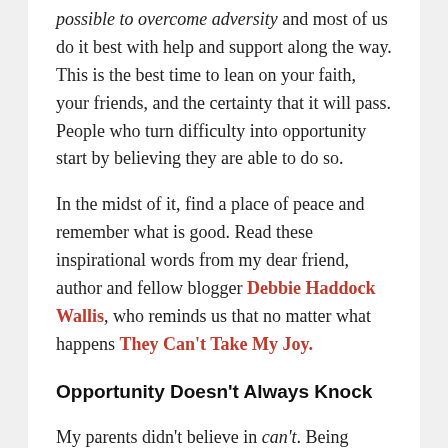possible to overcome adversity and most of us do it best with help and support along the way. This is the best time to lean on your faith, your friends, and the certainty that it will pass. People who turn difficulty into opportunity start by believing they are able to do so.
In the midst of it, find a place of peace and remember what is good. Read these inspirational words from my dear friend, author and fellow blogger Debbie Haddock Wallis, who reminds us that no matter what happens They Can't Take My Joy.
Opportunity Doesn't Always Knock
My parents didn't believe in can't. Being raised by two army soldiers comes with certain expectations, and "I can't do it" wasn't one of them. They taught me that adversity comes to everyone. No one escapes it and the world does not judge us by the adversity that befalls us: It waits to see how we will respond.